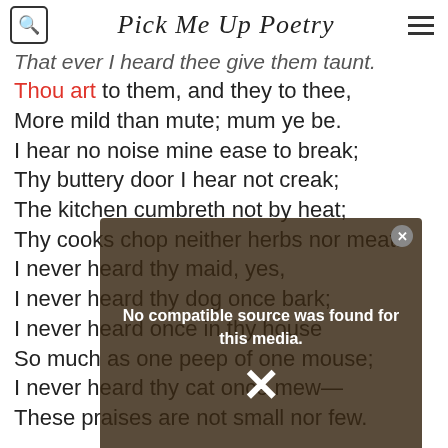Pick Me Up Poetry
That ever I heard thee give them taunt.
Thou art to them, and they to thee,
More mild than mute; mum ye be.
I hear no noise mine ease to break;
Thy buttery door I hear not creak;
The kitchen cumbreth not by heat;
Thy cooks chop neither herbs nor meat.
I never heard thy maid, yes,
I never heard thy dog once bark;
I never heard once in thy house
So much as one peep of one mouse;
I never heard thy cat once mew—
These praises are not small nor few.
[Figure (other): Video player overlay showing 'No compatible source was found for this media.' with an X button and close button, overlaid on a dark image]